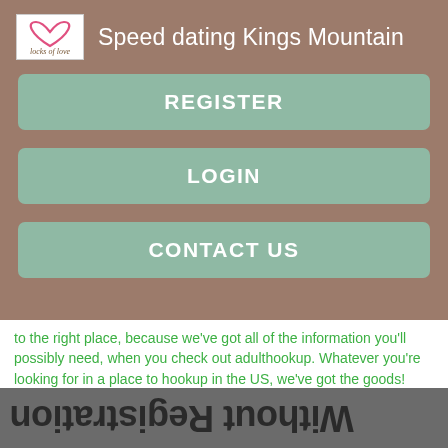[Figure (logo): Locks of Love logo — heart shape with cursive text]
Speed dating Kings Mountain
REGISTER
LOGIN
CONTACT US
to the right place, because we've got all of the information you'll possibly need, when you check out adulthookup. Whatever you're looking for in a place to hookup in the US, we've got the goods!
[Figure (screenshot): Mirrored/flipped text reading 'Without Registration' displayed upside-down and reversed on a dark gray background]